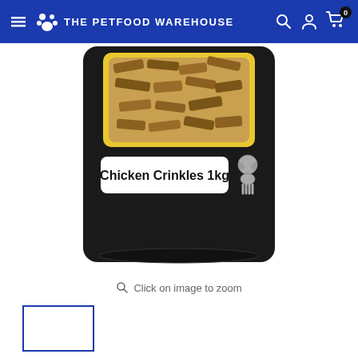THE PETFOOD WAREHOUSE
[Figure (photo): Black resealable bag of Chicken Crinkles 1kg dog treats with a white label in the center reading 'Chicken Crinkles 1kg' and a small dog illustration, showing crinkle-shaped chicken treats visible through a yellow-bordered window at the top]
Click on image to zoom
[Figure (photo): Thumbnail image placeholder of the product, bordered in blue]